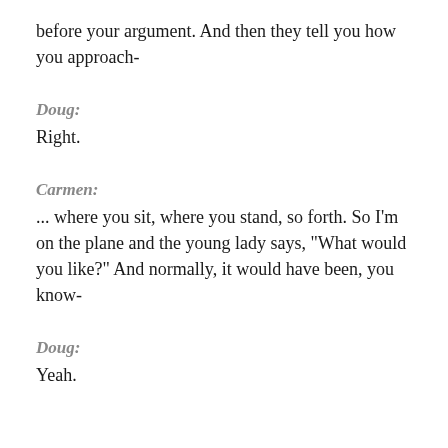before your argument. And then they tell you how you approach-
Doug:
Right.
Carmen:
... where you sit, where you stand, so forth. So I'm on the plane and the young lady says, "What would you like?" And normally, it would have been, you know-
Doug:
Yeah.